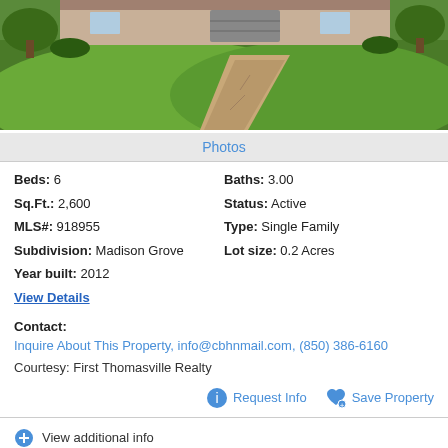[Figure (photo): Exterior photo of a house showing a concrete walkway leading to the front, surrounded by green lawn and trees]
Photos
Beds: 6   Baths: 3.00
Sq.Ft.: 2,600   Status: Active
MLS#: 918955   Type: Single Family
Subdivision: Madison Grove   Lot size: 0.2 Acres
Year built: 2012
View Details
Contact: Inquire About This Property, info@cbhnmail.com, (850) 386-6160
Courtesy: First Thomasville Realty
Request Info   Save Property
View additional info